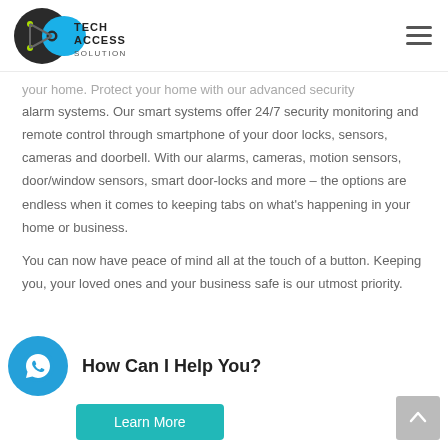[Figure (logo): TechAccess Solution logo with gear/node graphic in dark grey and lime green, blue blob shape, and text TECHACCESS SOLUTION]
your home. Protect your home with our advanced security alarm systems. Our smart systems offer 24/7 security monitoring and remote control through smartphone of your door locks, sensors, cameras and doorbell. With our alarms, cameras, motion sensors, door/window sensors, smart door-locks and more – the options are endless when it comes to keeping tabs on what's happening in your home or business.
You can now have peace of mind all at the touch of a button. Keeping you, your loved ones and your business safe is our utmost priority.
How Can I Help You?
[Figure (illustration): WhatsApp chat icon button - teal/blue circle with white WhatsApp logo]
[Figure (illustration): Learn More button - teal/turquoise rounded rectangle button]
[Figure (illustration): Back to top arrow button - grey square with upward arrow]